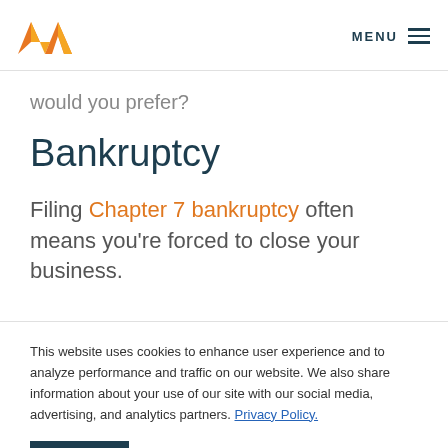MENU
would you prefer?
Bankruptcy
Filing Chapter 7 bankruptcy often means you're forced to close your business.
This website uses cookies to enhance user experience and to analyze performance and traffic on our website. We also share information about your use of our site with our social media, advertising, and analytics partners. Privacy Policy.
Accept